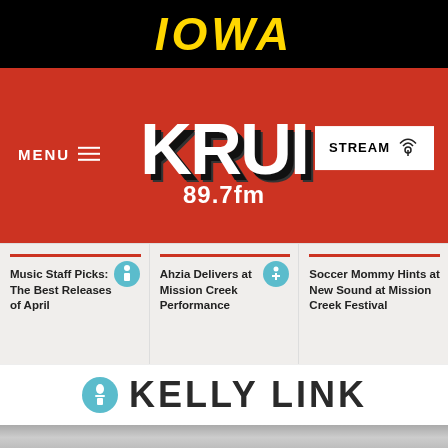IOWA
[Figure (logo): KRUI 89.7fm radio station logo on red background with MENU navigation and STREAM button]
Music Staff Picks: The Best Releases of April
Ahzia Delivers at Mission Creek Performance
Soccer Mommy Hints at New Sound at Mission Creek Festival
KELLY LINK
[Figure (photo): Black and white photo of Kelly Link, partially visible at bottom of page]